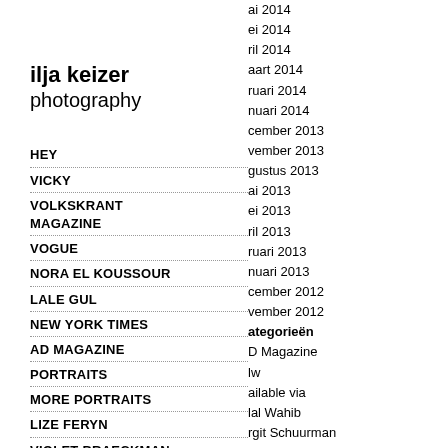ilja keizer photography
HEY
VICKY
VOLKSKRANT MAGAZINE
VOGUE
NORA EL KOUSSOUR
LALE GUL
NEW YORK TIMES
AD MAGAZINE
PORTRAITS
MORE PORTRAITS
LIZE FERYN
VIOLET BRAECKMAN
JOY DELIMA
ELLA JUNE HENRARD
CHARLIE DAGELET
ai 2014
ei 2014
ril 2014
aart 2014
ruari 2014
nuari 2014
cember 2013
vember 2013
gustus 2013
ai 2013
ei 2013
ril 2013
ruari 2013
nuari 2013
cember 2012
vember 2012
ategorieën
D Magazine
lw
ailable via
lal Wahib
rgit Schuurman
harlie Dagelet
lan Yurdakul
aja
la_June Henrard
nma Wortelboer
CKBook
CKBook Credits
CKBook Prints
aite Jansen
een categorie